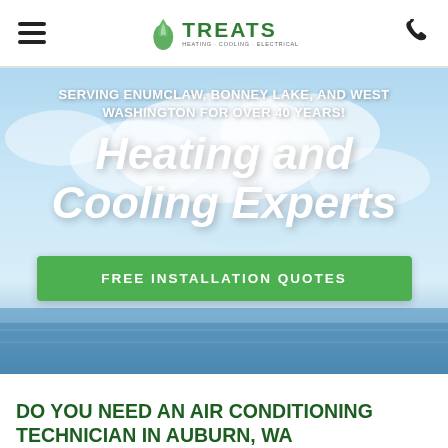TREATS Heating Cooling Electrical — navigation header with hamburger menu and phone icon
[Figure (screenshot): Hero banner with sky and water background image. Text reads: SERVING ENUMCLAW, BONNEY LAKE, AND WEST WASHINGTON FOR OVER 40 YEARS! Heating and Cooling Experts. Green button: FREE INSTALLATION QUOTES]
DO YOU NEED AN AIR CONDITIONING TECHNICIAN IN AUBURN, WA